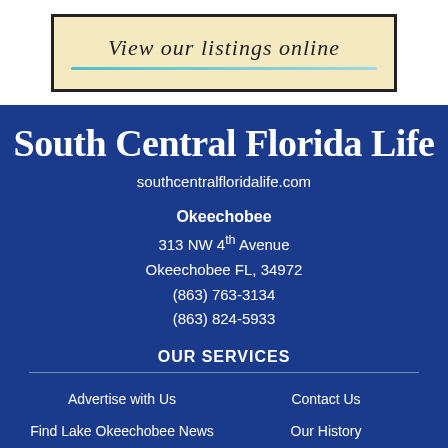[Figure (illustration): Advertisement box with script text 'View our listings online' and a teal decorative line, on a sandy/cream background with a beach scene suggestion.]
South Central Florida Life
southcentralfloridalife.com
Okeechobee
313 NW 4th Avenue
Okeechobee FL, 34972
(863) 763-3134
(863) 824-5933
OUR SERVICES
Advertise with Us
Contact Us
Find Lake Okeechobee News
Our History
Find Caloosa Belle
Privacy Policy
Public Notices
Work for Us
Our Vision & Values
About Us
Start a Digital Subscription
Start a Print Subscription